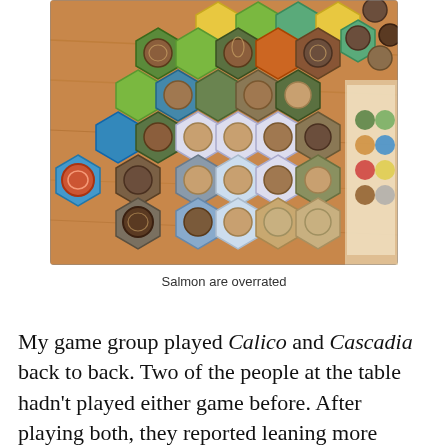[Figure (photo): A photo of the board game Cascadia in progress, showing hexagonal habitat tiles (green forest, blue water, yellow prairie, snowy mountain) arranged on a wooden table, with round wooden animal tokens (bear, salmon, hawk, elk, fox, deer) placed on various tiles. A game board and components are visible on the right edge.]
Salmon are overrated
My game group played Calico and Cascadia back to back. Two of the people at the table hadn't played either game before. After playing both, they reported leaning more favorably towards Cascadia, as it felt less